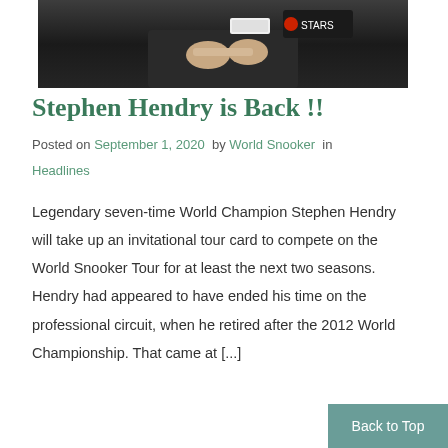[Figure (photo): Photo of a person in a dark jacket with a PokerStars logo, hands visible, dark background]
Stephen Hendry is Back !!
Posted on September 1, 2020  by World Snooker  in
Headlines
Legendary seven-time World Champion Stephen Hendry will take up an invitational tour card to compete on the World Snooker Tour for at least the next two seasons. Hendry had appeared to have ended his time on the professional circuit, when he retired after the 2012 World Championship. That came at [...]